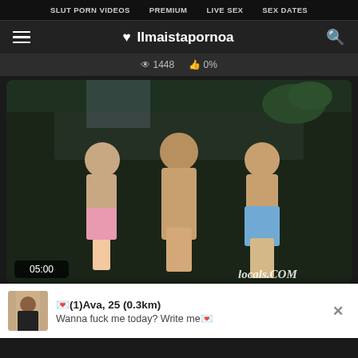SLUT PORN VIDEOS   PREMIUM   LIVE SEX   SEX DATES
♥ Ilmaistapornoa
👁 1448   👍 0%
[Figure (photo): Screenshot of adult video website showing a video thumbnail with three women on a couch. Timestamp shows 05:00. Watermark visible in bottom right.]
📩(1)Ava, 25 (0.3km)
Wanna fuck me today? Write me📩